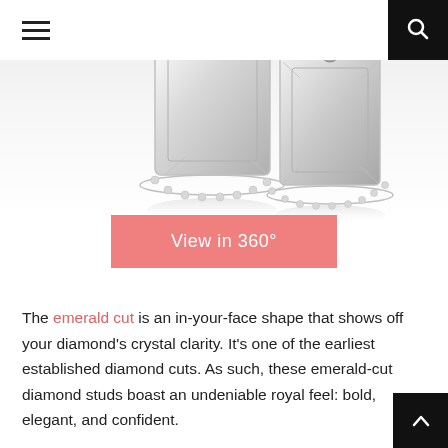Navigation header with hamburger menu and search icon
[Figure (photo): Two emerald-cut diamond stud earrings on a white reflective surface, showing the faceted rectangular diamond shapes with halo settings]
View in 360°
The emerald cut is an in-your-face shape that shows off your diamond's crystal clarity. It's one of the earliest established diamond cuts. As such, these emerald-cut diamond studs boast an undeniable royal feel: bold, elegant, and confident.